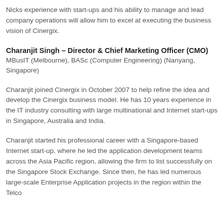Nicks experience with start-ups and his ability to manage and lead company operations will allow him to excel at executing the business vision of Cinergix.
Charanjit Singh – Director & Chief Marketing Officer (CMO)
MBusIT (Melbourne), BASc (Computer Engineering) (Nanyang, Singapore)
Charanjit joined Cinergix in October 2007 to help refine the idea and develop the Cinergix business model. He has 10 years experience in the IT industry consulting with large multinational and Internet start-ups in Singapore, Australia and India.
Charanjit started his professional career with a Singapore-based Internet start-up, where he led the application development teams across the Asia Pacific region, allowing the firm to list successfully on the Singapore Stock Exchange. Since then, he has led numerous large-scale Enterprise Application projects in the region within the Telco